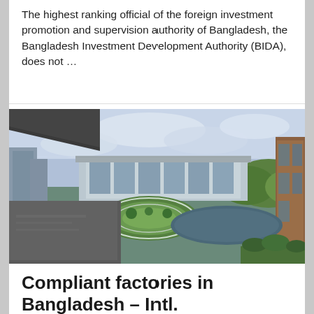The highest ranking official of the foreign investment promotion and supervision authority of Bangladesh, the Bangladesh Investment Development Authority (BIDA), does not …
[Figure (photo): Aerial/ground-level view of a modern building complex in Bangladesh with green landscaped courtyard, a pond/water feature, trees, and overcast sky.]
Compliant factories in Bangladesh – Intl. collaboration